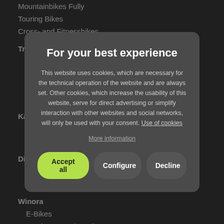Mountainbikes Fully
Touring Bikes
Cross- and Fitnessbikes
Trek
E-Bikes
Mountainbikes Hardtail
Mountainbikes Fully
Touring Bikes
Kalkhoff
E-Bikes
Touring Bikes
Diamant
E-Bikes
Touring Bikes
Winora
E-Bikes
Winora Touring Bikes
For your best experience
This website uses cookies, which are necessary for the technical operation of the website and are always set. Other cookies, which increase the usability of this website, serve for direct advertising or simplify interaction with other websites and social networks, will only be used with your consent. Use of cookies
More information